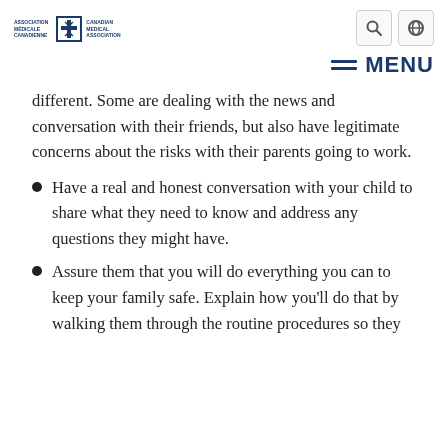[Figure (logo): Canadian Medical Association / Association Médicale Canadienne logo with caduceus icon]
different. Some are dealing with the news and conversation with their friends, but also have legitimate concerns about the risks with their parents going to work.
Have a real and honest conversation with your child to share what they need to know and address any questions they might have.
Assure them that you will do everything you can to keep your family safe. Explain how you'll do that by walking them through the routine procedures so they